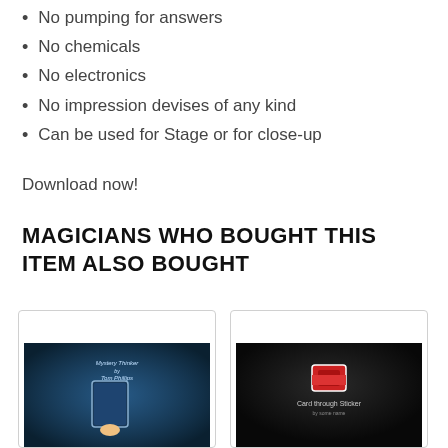No pumping for answers
No chemicals
No electronics
No impression devises of any kind
Can be used for Stage or for close-up
Download now!
MAGICIANS WHO BOUGHT THIS ITEM ALSO BOUGHT
[Figure (photo): Magic trick product image showing a hand holding a playing card with mystical blue smoke background, text 'Mystery Thinker by Tom Phillips']
[Figure (photo): Magic trick product image on dark background showing playing cards with text 'Card through Sticker']